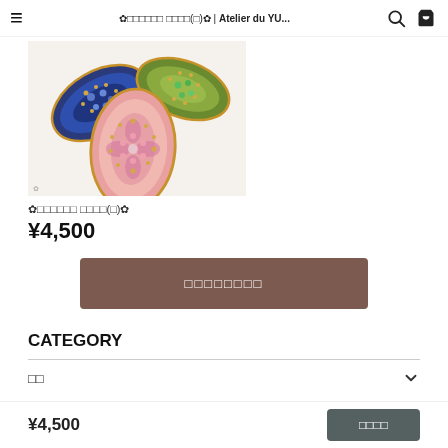☰  ✿□□□□□□ □□□□(□)✿ | Atelier du YU...  🔍  🛒
[Figure (photo): Close-up photo of decorative jewelry brooches with colorful enamel and rhinestone designs on a white background. Visible are blue, green, pink, and gold leaf/petal shaped pieces.]
✿□□□□□□ □□□□(□)✿
¥4,500
□□□□□□□□
CATEGORY
□□
¥4,500